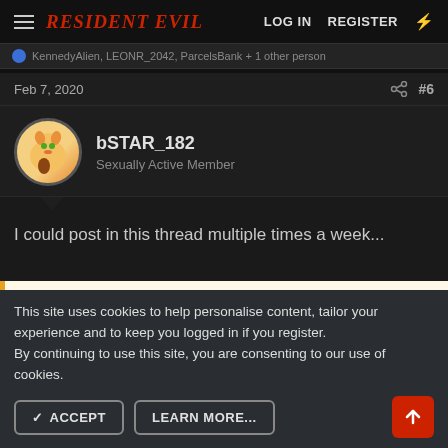Resident Evil | LOG IN  REGISTER
KennedyAlien, LEONR_2042, ParcelsBank + 1 other person
Feb 7, 2020  #6
bSTAR_182
Sexually Active Member
I could post in this thread multiple times a week...
You must be registered for see images
This site uses cookies to help personalise content, tailor your experience and to keep you logged in if you register.
By continuing to use this site, you are consenting to our use of cookies.
✓ ACCEPT   LEARN MORE...